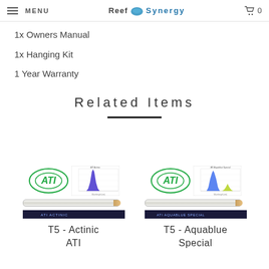MENU | Reef Synergy | Cart 0
1x Owners Manual
1x Hanging Kit
1 Year Warranty
Related Items
[Figure (photo): ATI T5 Actinic fluorescent bulb product image with ATI logo and spectral output chart]
T5 - Actinic ATI
[Figure (photo): ATI T5 Aquablue Special fluorescent bulb product image with ATI logo and spectral output chart]
T5 - Aquablue Special